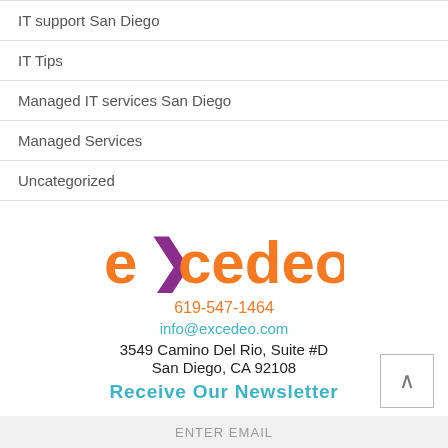IT support San Diego
IT Tips
Managed IT services San Diego
Managed Services
Uncategorized
[Figure (logo): Excedeo company logo in orange with purple arrow/x element]
619-547-1464
info@excedeo.com
3549 Camino Del Rio, Suite #D
San Diego, CA 92108
Receive Our Newsletter
ENTER EMAIL